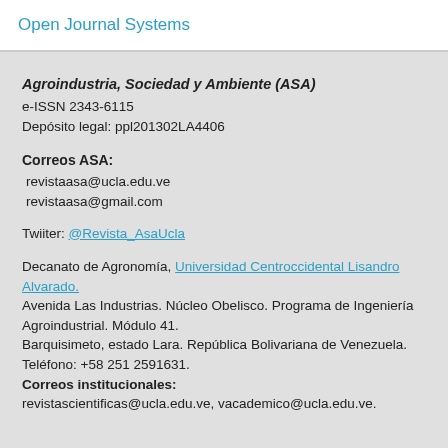Open Journal Systems
Agroindustria, Sociedad y Ambiente (ASA)
e-ISSN 2343-6115
Depósito legal: ppl201302LA4406
Correos ASA:
revistaasa@ucla.edu.ve
revistaasa@gmail.com
Twiiter: @Revista_AsaUcla
Decanato de Agronomía, Universidad Centroccidental Lisandro Alvarado.
Avenida Las Industrias. Núcleo Obelisco. Programa de Ingeniería Agroindustrial. Módulo 41.
Barquisimeto, estado Lara. República Bolivariana de Venezuela. Teléfono: +58 251 2591631.
Correos institucionales:
revistascientificas@ucla.edu.ve, vacademico@ucla.edu.ve.